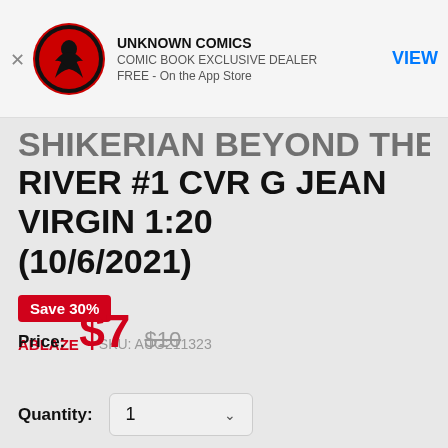[Figure (logo): Unknown Comics app store banner with red circular logo showing a red figure on black background, store name UNKNOWN COMICS, subtitle COMIC BOOK EXCLUSIVE DEALER, FREE - On the App Store, and a VIEW button]
RIVER #1 CVR G JEAN VIRGIN 1:20 (10/6/2021)
Save 30%
ABLAZE    SKU: AUG211323
Price: $7  $10
Quantity: 1